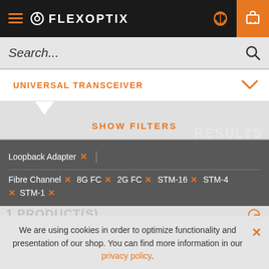FLEXOPTIX
Search...
UNIVERSAL TRANSCEIVER
SHOW FILTERS
Loopback Adapter ×
Fibre Channel × 8G FC × 2G FC × STM-16 × STM-4 × STM-1 ×
We are using cookies in order to optimize functionality and presentation of our shop. You can find more information in our privacy policy.